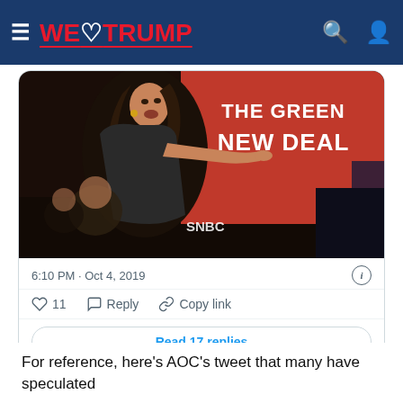WE ♥ TRUMP
[Figure (photo): Photo of a woman speaking and gesturing on stage in front of a red banner reading THE GREEN NEW DEAL, with MSNBC branding visible]
6:10 PM · Oct 4, 2019
♡ 11   Reply   Copy link
Read 17 replies
For reference, here's AOC's tweet that many have speculated